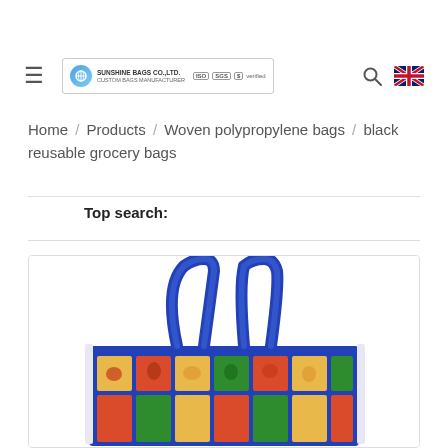≡ [Logo / Company branding with ISO, SGS, $ certifications] 🔍 🇬🇧
Home / Products / Woven polypropylene bags / black reusable grocery bags
Top search:
[Figure (photo): A large blue tote bag with colorful floral/patchwork print pattern, shown from the front with two blue handles.]